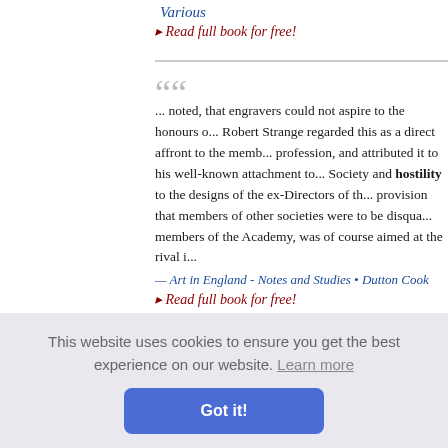Various
Read full book for free!
... noted, that engravers could not aspire to the honours o... Robert Strange regarded this as a direct affront to the memb... profession, and attributed it to his well-known attachment to... Society and hostility to the designs of the ex-Directors of th... provision that members of other societies were to be disqua... members of the Academy, was of course aimed at the rival i...
— Art in England - Notes and Studies • Dutton Cook
Read full book for free!
This website uses cookies to ensure you get the best experience on our website. Learn more
Got it!
...looded Am... heir early y... al of the o... ied by the... sure subsi... y with the s... Holmes
Read full book for free!